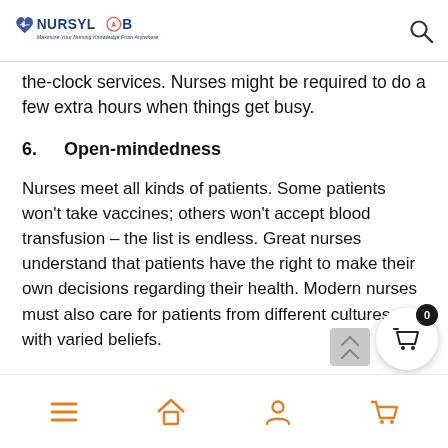NURSYLAB - Maximize Your Nursing Knowledge From Anywhere
the-clock services. Nurses might be required to do a few extra hours when things get busy.
6.    Open-mindedness
Nurses meet all kinds of patients. Some patients won't take vaccines; others won't accept blood transfusion – the list is endless. Great nurses understand that patients have the right to make their own decisions regarding their health. Modern nurses must also care for patients from different cultures and with varied beliefs.
Navigation bar with menu, home, user, and cart icons